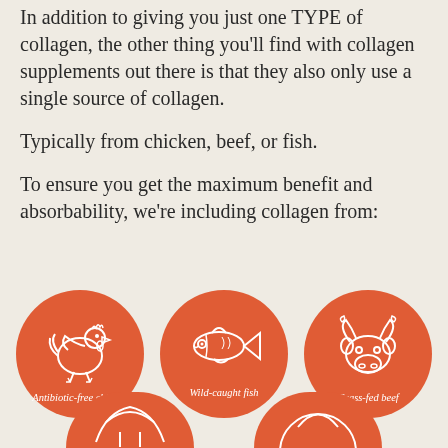In addition to giving you just one TYPE of collagen, the other thing you'll find with collagen supplements out there is that they also only use a single source of collagen.
Typically from chicken, beef, or fish.
To ensure you get the maximum benefit and absorbability, we're including collagen from:
[Figure (infographic): Three orange circles with white line icons and labels: Antibiotic-free chicken (chicken icon), Wild-caught fish (fish icon), Grass-fed beef (bull/cow head icon). Two more partially visible orange circles at the bottom.]